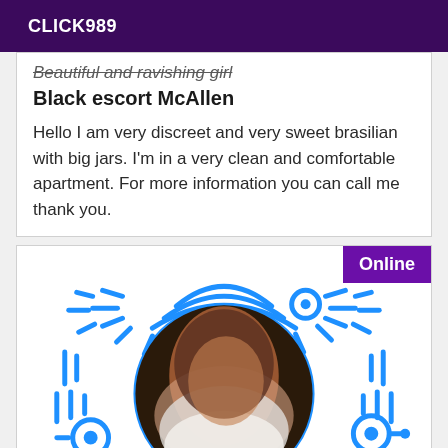CLICK989
Beautiful and ravishing girl
Black escort McAllen
Hello I am very discreet and very sweet brasilian with big jars. I'm in a very clean and comfortable apartment. For more information you can call me thank you.
[Figure (photo): Profile photo of a person inside a circular frame, surrounded by decorative blue graphic elements resembling a QR code or mandala pattern. An 'Online' badge appears in the top right corner.]